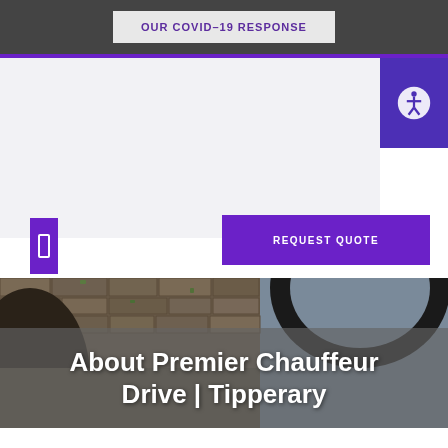OUR COVID-19 RESPONSE
[Figure (infographic): Accessibility icon button (person in circle) on purple background, top right corner]
[Figure (other): Small purple rectangle/phone icon on left side]
REQUEST QUOTE
[Figure (photo): Stone arch bridge and cobblestone wall photograph used as hero background image]
About Premier Chauffeur Drive | Tipperary